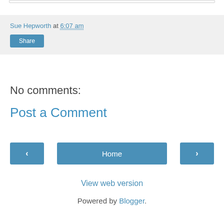Sue Hepworth at 6:07 am
Share
No comments:
Post a Comment
‹
Home
›
View web version
Powered by Blogger.